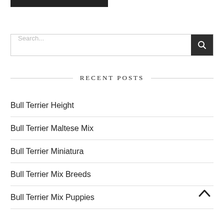[Figure (other): Black navigation bar or header bar at top left]
Search...
RECENT POSTS
Bull Terrier Height
Bull Terrier Maltese Mix
Bull Terrier Miniatura
Bull Terrier Mix Breeds
Bull Terrier Mix Puppies